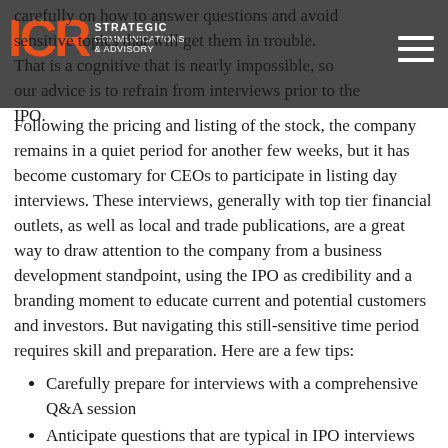ICR Strategic Communications & Advisory
carefully on how to answer questions and avoid sensitive topics that will get them in trouble. That is a cognitive that is nearly impossible, so our advice is to refrain from interviews prior to the IPO.
Following the pricing and listing of the stock, the company remains in a quiet period for another few weeks, but it has become customary for CEOs to participate in listing day interviews. These interviews, generally with top tier financial outlets, as well as local and trade publications, are a great way to draw attention to the company from a business development standpoint, using the IPO as credibility and a branding moment to educate current and potential customers and investors. But navigating this still-sensitive time period requires skill and preparation. Here are a few tips:
Carefully prepare for interviews with a comprehensive Q&A session
Anticipate questions that are typical in IPO interviews (e.g., “tell me about the Roadshow” or “How do you feel about the price”) and prepare answers such as “if we execute our business plan, we are confident the stock…